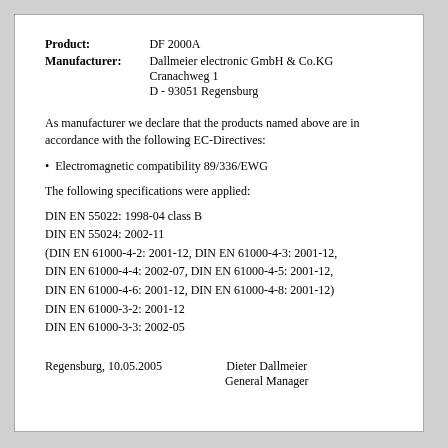Product: DF 2000A
Manufacturer: Dallmeier electronic GmbH & Co.KG
Cranachweg 1
D - 93051 Regensburg
As manufacturer we declare that the products named above are in accordance with the following EC-Directives:
• Electromagnetic compatibility 89/336/EWG
The following specifications were applied:
DIN EN 55022: 1998-04 class B
DIN EN 55024: 2002-11
(DIN EN 61000-4-2: 2001-12, DIN EN 61000-4-3: 2001-12, DIN EN 61000-4-4: 2002-07, DIN EN 61000-4-5: 2001-12, DIN EN 61000-4-6: 2001-12, DIN EN 61000-4-8: 2001-12)
DIN EN 61000-3-2: 2001-12
DIN EN 61000-3-3: 2002-05
Regensburg, 10.05.2005    Dieter Dallmeier
                           General Manager